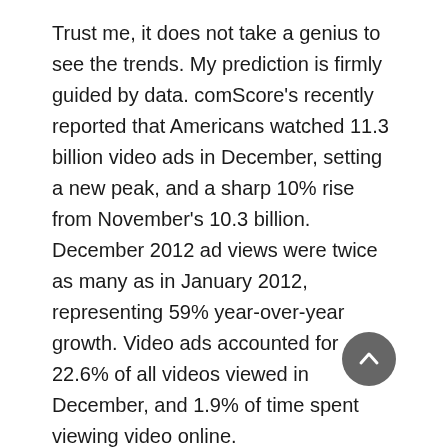Trust me, it does not take a genius to see the trends. My prediction is firmly guided by data. comScore's recently reported that Americans watched 11.3 billion video ads in December, setting a new peak, and a sharp 10% rise from November's 10.3 billion. December 2012 ad views were twice as many as in January 2012, representing 59% year-over-year growth. Video ads accounted for 22.6% of all videos viewed in December, and 1.9% of time spent viewing video online.
But That Was Last Year
Now three months into 2013, I feel ever more confident about Cam's Law given the